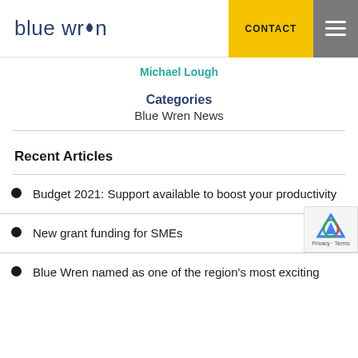blue wren | CONTACT
Michael Lough
Categories
Blue Wren News
Recent Articles
Budget 2021: Support available to boost your productivity
New grant funding for SMEs
Blue Wren named as one of the region's most exciting